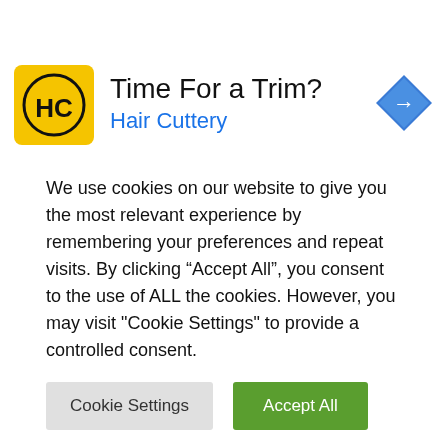[Figure (advertisement): Hair Cuttery ad banner: yellow square logo with HC, headline 'Time For a Trim?', subtext 'Hair Cuttery' in blue, blue diamond arrow icon on right, ad label tag on left]
Lake Trasimeno between villages and good food
Recent Posts
We use cookies on our website to give you the most relevant experience by remembering your preferences and repeat visits. By clicking “Accept All”, you consent to the use of ALL the cookies. However, you may visit "Cookie Settings" to provide a controlled consent.